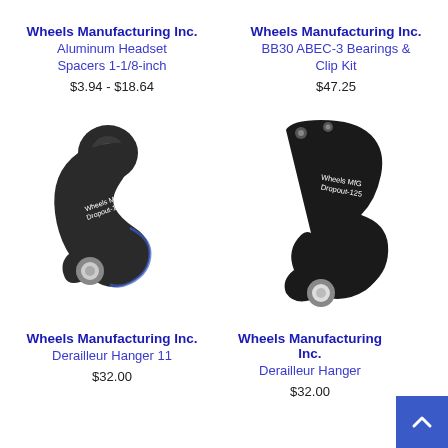Wheels Manufacturing Inc.
Aluminum Headset Spacers 1-1/8-inch
$3.94 - $18.64
Wheels Manufacturing Inc.
BB30 ABEC-3 Bearings & Clip Kit
$47.25
[Figure (photo): Wheels Mfg Dropout-11 derailleur hanger, dark metal, hook shape with circular hole]
[Figure (photo): Wheels Mfg Dropout-125 derailleur hanger, dark metal, larger hook shape with circular hole]
Wheels Manufacturing Inc.
Derailleur Hanger 11
$32.00
Wheels Manufacturing Inc.
Derailleur Hanger
$32.00